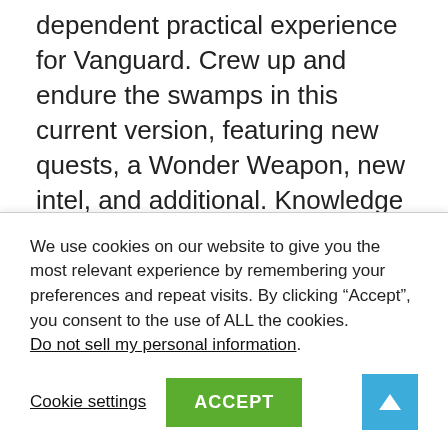dependent practical experience for Vanguard. Crew up and endure the swamps in this current version, featuring new quests, a Wonder Weapon, new intel, and additional. Knowledge the map as a result of Vanguard's exclusive attributes like the Altar of Covenants and the Tome of Rituals.
New Battle Pass, new weapons
The Mercenaries of Fortune Fight Move offers 100 Tiers of new information, like two new free weapons: the
We use cookies on our website to give you the most relevant experience by remembering your preferences and repeat visits. By clicking “Accept”, you consent to the use of ALL the cookies. Do not sell my personal information.
Cookie settings | ACCEPT